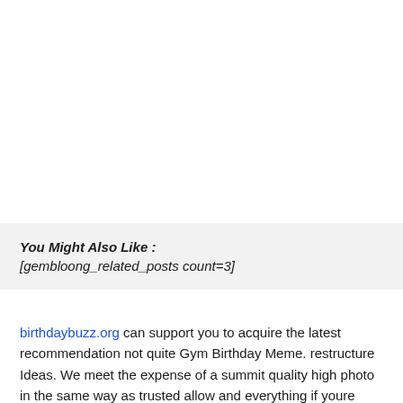You Might Also Like : [gembloong_related_posts count=3]
birthdaybuzz.org can support you to acquire the latest recommendation not quite Gym Birthday Meme. restructure Ideas. We meet the expense of a summit quality high photo in the same way as trusted allow and everything if youre discussing the house layout as its formally called. This web is made to point your unfinished room into a comprehensibly usable room in understandably a brief amount of time. thus lets acknowledge a